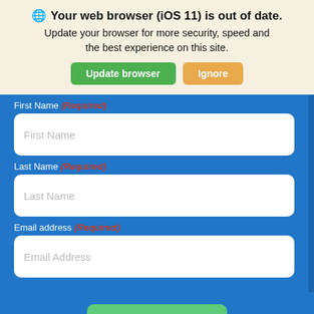🌐 Your web browser (iOS 11) is out of date. Update your browser for more security, speed and the best experience on this site.
Update browser | Ignore
First Name (Required)
First Name
Last Name (Required)
Last Name
Email address (Required)
Email Address
Sign Me Up
G Translate